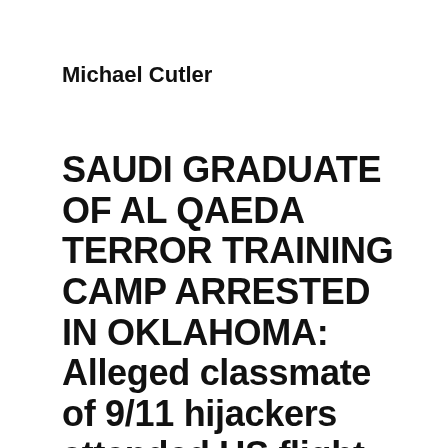Michael Cutler
SAUDI GRADUATE OF AL QAEDA TERROR TRAINING CAMP ARRESTED IN OKLAHOMA: Alleged classmate of 9/11 hijackers attended US flight school in 2016.